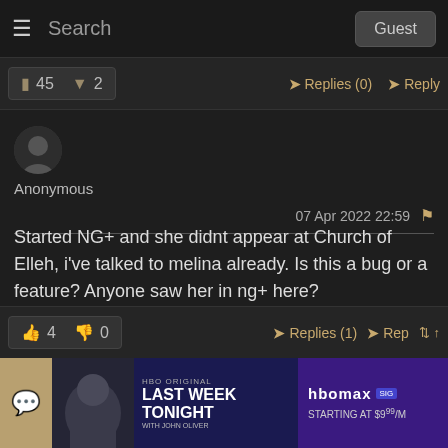Search  Guest
45  2  Replies (0)  Reply
Anonymous
07 Apr 2022 22:59
Started NG+ and she didnt appear at Church of Elleh, i've talked to melina already. Is this a bug or a feature? Anyone saw her in ng+ here?
4  0  Replies (1)  Reply
[Figure (screenshot): HBO Max advertisement banner showing Last Week Tonight with John Oliver, HBO Max logo with SIG badge, Starting at $9/M]